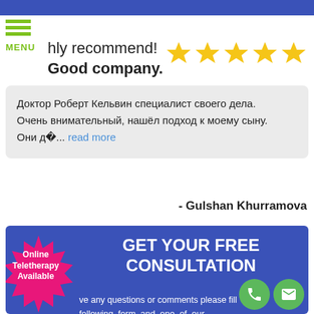hly recommend! Good company.
[Figure (illustration): Five gold stars rating]
Доктор Роберт Кельвин специалист своего дела. Очень внимательный, нашёл подход к моему сыну. Они д... read more
- Gulshan Khurramova
GET YOUR FREE CONSULTATION
ve any questions or comments please fill following form and one of our tatives will contact you por le.
[Figure (illustration): Online Teletherapy Available pink starburst badge]
[Figure (illustration): Phone and email green circle icons]